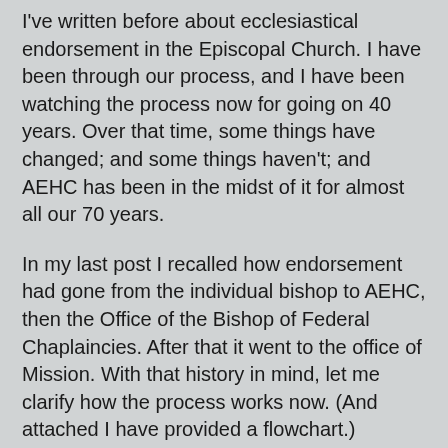I've written before about ecclesiastical endorsement in the Episcopal Church. I have been through our process, and I have been watching the process now for going on 40 years. Over that time, some things have changed; and some things haven't; and AEHC has been in the midst of it for almost all our 70 years.
In my last post I recalled how endorsement had gone from the individual bishop to AEHC, then the Office of the Bishop of Federal Chaplaincies. After that it went to the office of Mission. With that history in mind, let me clarify how the process works now. (And attached I have provided a flowchart.)
Once upon a time, it was individual bishops who endorsed for healthcare ministry. Now, it continues to be individual bishops who endorse for healthcare ministry. Yes, there is a process, but if an